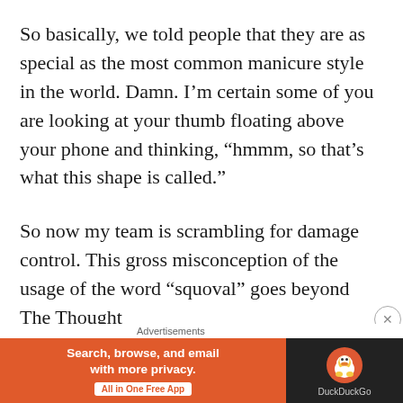So basically, we told people that they are as special as the most common manicure style in the world. Damn. I’m certain some of you are looking at your thumb floating above your phone and thinking, “hmmm, so that’s what this shape is called.”
So now my team is scrambling for damage control. This gross misconception of the usage of the word “squoval” goes beyond The Thought P...
Advertisements
[Figure (infographic): DuckDuckGo advertisement banner: orange left section with text 'Search, browse, and email with more privacy.' and 'All in One Free App' button; dark right section with DuckDuckGo duck logo and brand name.]